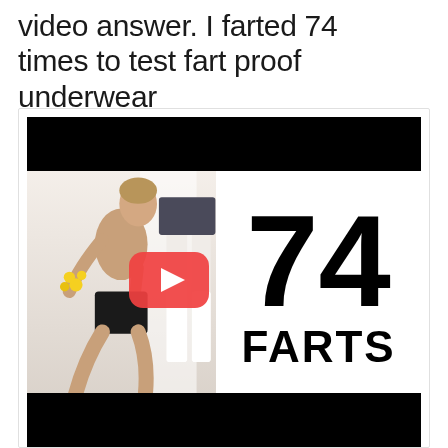video answer. I farted 74 times to test fart proof underwear
[Figure (screenshot): Video thumbnail showing a man kneeling in black shorts sniffing flowers near a person's legs, with a YouTube play button overlay, large bold text '74' and 'FARTS' on white background on the right side, with black letterbox bars top and bottom.]